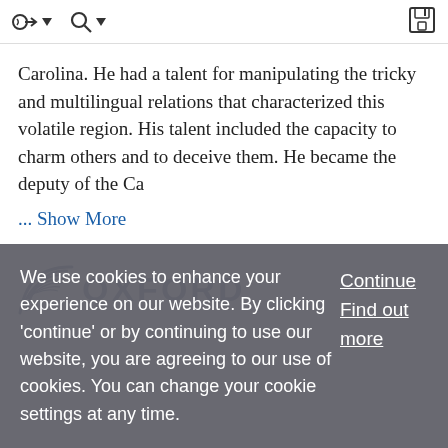toolbar with navigation and save icons
Carolina. He had a talent for manipulating the tricky and multilingual relations that characterized this volatile region. His talent included the capacity to charm others and to deceive them. He became the deputy of the Ca
... Show More
[Figure (logo): Oxford University Press logo with decorative wing/feather mark and OXFORD text]
We use cookies to enhance your experience on our website. By clicking 'continue' or by continuing to use our website, you are agreeing to our use of cookies. You can change your cookie settings at any time.
Continue
Find out more